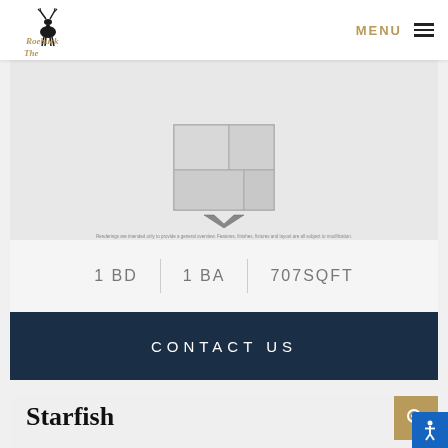The Roebuck — MENU
[Figure (illustration): Partial floor plan image with geometric shapes, shown cropped at top of card]
Renderings are intended only to provide a general overview. Features, finishes, fixtures and layout are all subject to modification.
1 BD | 1 BA | 707SQFT
CONTACT US
[Figure (other): Search/zoom icon button (gold background with magnifier icon)]
Starfish